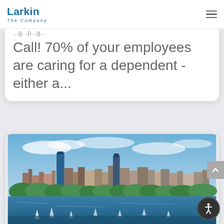Larkin The Company
Call! 70% of your employees are caring for a dependent - either a...
[Figure (photo): Aerial panoramic photo of Boston city skyline with Charles River in the foreground, blue sky with clouds above, green trees lining the waterfront, numerous sailboats on the water.]